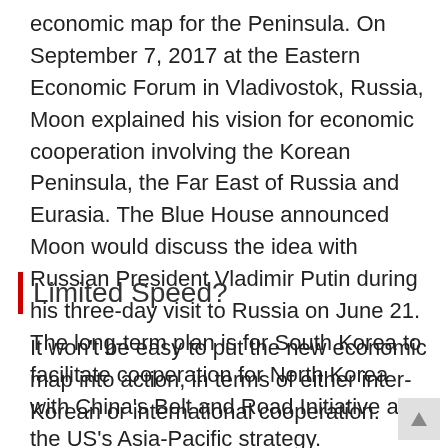economic map for the Peninsula. On September 7, 2017 at the Eastern Economic Forum in Vladivostok, Russia, Moon explained his vision for economic cooperation involving the Korean Peninsula, the Far East of Russia and Eurasia. The Blue House announced Moon would discuss the idea with Russian President Vladimir Putin during his three-day visit to Russia on June 21. The long-term plan is for South Korea to facilitate cooperation for North Korea with China's Belt and Road Initiative and the US's Asia-Pacific strategy.
Limited Speed?
It won't be easy to put the new economic map into action, in terms of either inter-Korean or international cooperation.